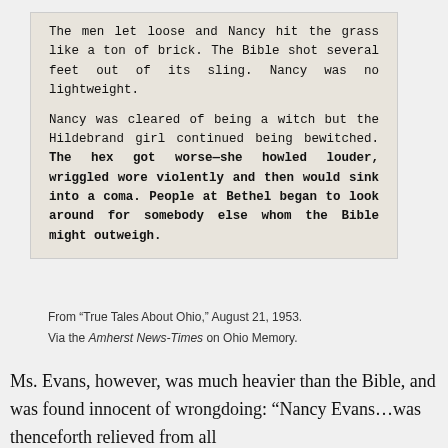[Figure (other): Newspaper clipping with typeset text describing Nancy being cleared of being a witch and the Hildebrand girl continuing to be bewitched.]
From “True Tales About Ohio,” August 21, 1953. Via the Amherst News-Times on Ohio Memory.
Ms. Evans, however, was much heavier than the Bible, and was found innocent of wrongdoing: “Nancy Evans…was thenceforth relieved from all